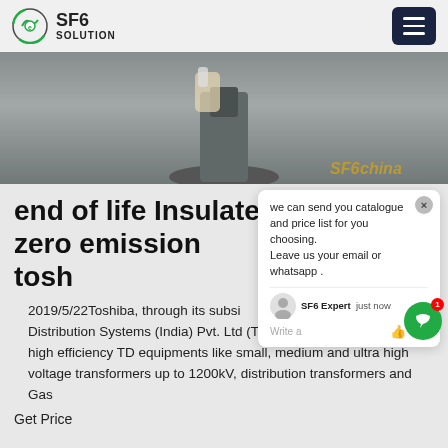SF6 SOLUTION
[Figure (photo): Close-up photo of a gloved hand working on electrical/SF6 equipment with gravel background. SF6china text visible in orange at bottom right.]
end of life Insulated zero emission tosh
2019/5/22Toshiba, through its subsidiary Transmission and Distribution Systems (India) Pvt. Ltd (TTDI) offers wide range of high efficiency TD equipments like small, medium and ultra high voltage transformers up to 1200kV, distribution transformers and Gas
Get Price